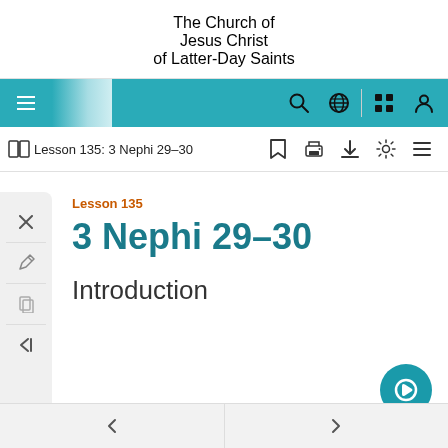THE CHURCH OF JESUS CHRIST OF LATTER-DAY SAINTS
Lesson 135: 3 Nephi 29–30
Lesson 135
3 Nephi 29–30
Introduction